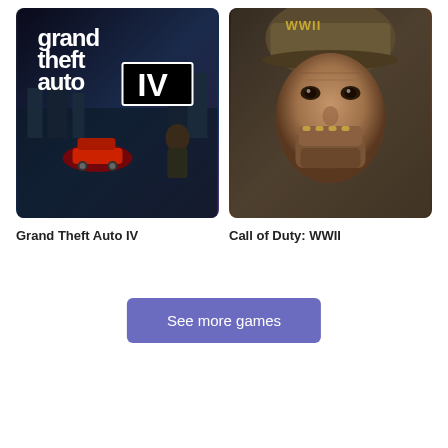[Figure (photo): Grand Theft Auto IV game cover art showing urban scene with characters and cars, bold GTA IV logo]
Grand Theft Auto IV
[Figure (photo): Call of Duty: WWII game cover art showing a soldier's face in close-up, wearing a helmet with WWII text]
Call of Duty: WWII
See more games